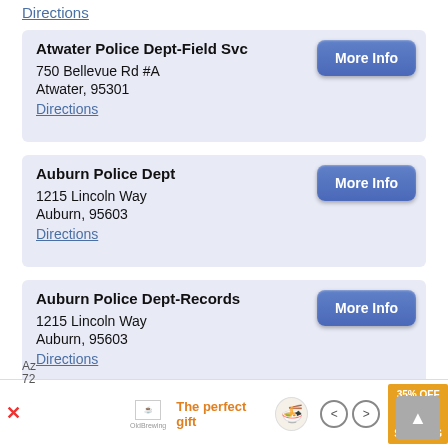Directions
Atwater Police Dept-Field Svc
750 Bellevue Rd #A
Atwater, 95301
Directions
Auburn Police Dept
1215 Lincoln Way
Auburn, 95603
Directions
Auburn Police Dept-Records
1215 Lincoln Way
Auburn, 95603
Directions